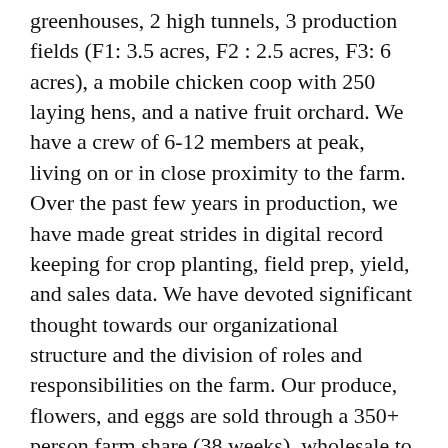greenhouses, 2 high tunnels, 3 production fields (F1: 3.5 acres, F2 : 2.5 acres, F3: 6 acres), a mobile chicken coop with 250 laying hens, and a native fruit orchard. We have a crew of 6-12 members at peak, living on or in close proximity to the farm. Over the past few years in production, we have made great strides in digital record keeping for crop planting, field prep, yield, and sales data. We have devoted significant thought towards our organizational structure and the division of roles and responsibilities on the farm. Our produce, flowers, and eggs are sold through a 350+ person farm share (38 weeks), wholesale to local food distributors, and at the Matthews farmers market. In addition to farming (and prior to Covid), we host complementary on-farm events to cultivate community and share knowledge around our farming practices.
We are looking for an individual or couple who are interested in running a sustainable production farm and have experience, education, or a combination of…